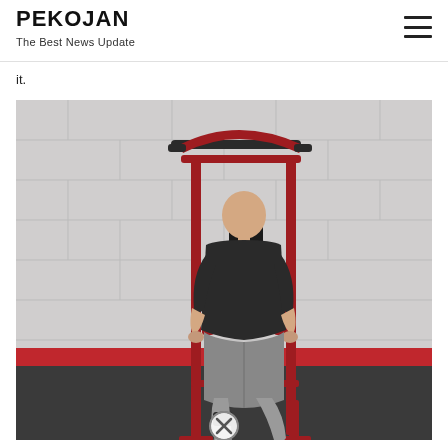PEKOJAN
The Best News Update
it.
[Figure (photo): A person using a red power tower / vertical knee raise gym station. The person is wearing a black sleeveless shirt and grey shorts, viewed from behind, gripping the handles while in a dip/knee raise position. The equipment is red with black padding. The background is a grey/white gym wall with a red floor stripe and dark gym floor. A close button (X in circle) appears at the bottom center of the image.]